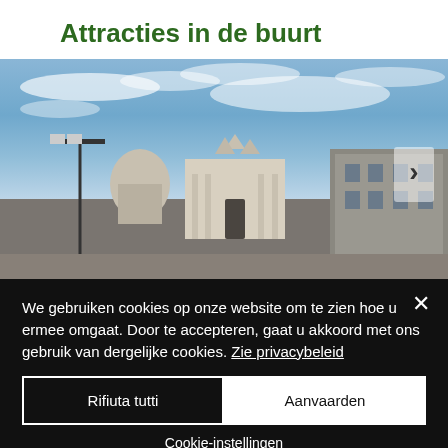Attracties in de buurt
[Figure (photo): Outdoor city square photo with baroque cathedral facade and buildings under blue sky with white clouds. A navigation arrow chevron is visible on the right side.]
We gebruiken cookies op onze website om te zien hoe u ermee omgaat. Door te accepteren, gaat u akkoord met ons gebruik van dergelijke cookies. Zie privacybeleid
Rifiuta tutti
Aanvaarden
Cookie-instellingen